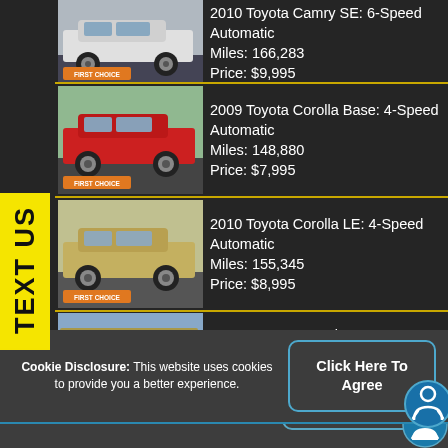[Figure (photo): Car listing 1: 2010 Toyota Camry SE, 6-Speed Automatic, Miles: 166,283, Price: $9,995 with car photo]
2010 Toyota Camry SE: 6-Speed Automatic
Miles: 166,283
Price: $9,995
[Figure (photo): Car listing 2: 2009 Toyota Corolla Base, 4-Speed Automatic, Miles: 148,880, Price: $7,995 with car photo]
2009 Toyota Corolla Base: 4-Speed Automatic
Miles: 148,880
Price: $7,995
[Figure (photo): Car listing 3: 2010 Toyota Corolla LE, 4-Speed Automatic, Miles: 155,345, Price: $8,995 with car photo]
2010 Toyota Corolla LE: 4-Speed Automatic
Miles: 155,345
Price: $8,995
[Figure (photo): Car listing 4: 2009 Toyota Sequoia SR5, 2WD 4.7-Liter, Miles: 213,862, Price: $9,995 with car photo]
2009 Toyota Sequoia SR5: 2WD 4.7-Liter
Miles: 213,862
Price: $9,995
TEXT US
Cookie Disclosure: This website uses cookies to provide you a better experience.
Click Here To Agree